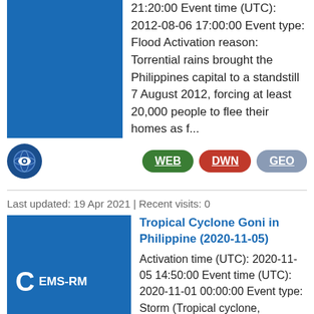21:20:00 Event time (UTC): 2012-08-06 17:00:00 Event type: Flood Activation reason: Torrential rains brought the Philippines capital to a standstill 7 August 2012, forcing at least 20,000 people to flee their homes as f...
[Figure (logo): Blue eye globe icon]
WEB DWN GEO
Last updated: 19 Apr 2021 | Recent visits: 0
[Figure (logo): Blue box with letter C and EMS-RM label]
Tropical Cyclone Goni in Philippine (2020-11-05)
Activation time (UTC): 2020-11-05 14:50:00 Event time (UTC): 2020-11-01 00:00:00 Event type: Storm (Tropical cyclone, hurricane, typhoon) Activation reason: Typhoon